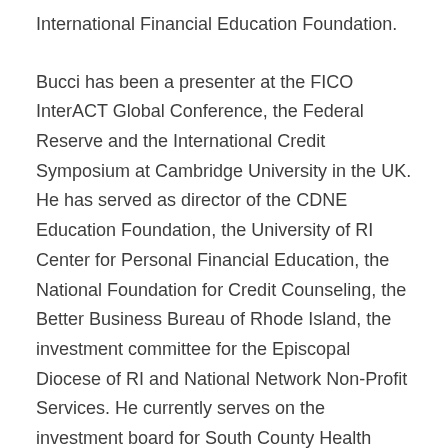International Financial Education Foundation.
Bucci has been a presenter at the FICO InterACT Global Conference, the Federal Reserve and the International Credit Symposium at Cambridge University in the UK. He has served as director of the CDNE Education Foundation, the University of RI Center for Personal Financial Education, the National Foundation for Credit Counseling, the Better Business Bureau of Rhode Island, the investment committee for the Episcopal Diocese of RI and National Network Non-Profit Services. He currently serves on the investment board for South County Health Care Systems.
Bucci and his wife, Barbara, live with their two cats, Peanut Butter and Smokey, at Sand Hill Cove in the